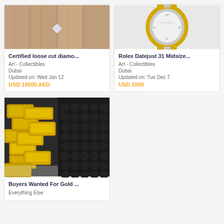[Figure (photo): Close-up of fingers holding a diamond or gemstone]
Certified loose cut diamo...
Art - Collectibles
Dubai
Updated on: Wed Jan 12
USD 10000 AED
[Figure (photo): Rolex Datejust 31 Midsize watch with gold bezel and two-tone bracelet]
Rolex Datejust 31 Midsize...
Art - Collectibles
Dubai
Updated on: Tue Dec 7
USD 2000
[Figure (photo): Gold bars piled in a briefcase]
Buyers Wanted For Gold ...
Everything Else